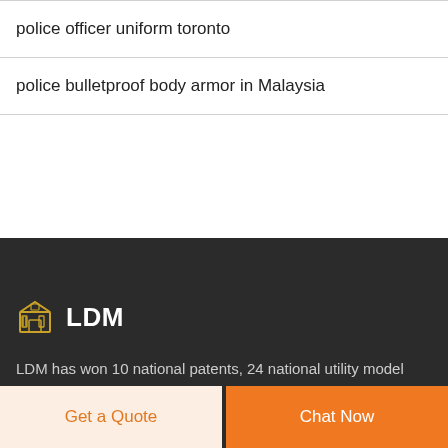police officer uniform toronto
police bulletproof body armor in Malaysia
[Figure (logo): LDM brand logo with a building/shop icon in gold and bold white LDM text on dark background]
LDM has won 10 national patents, 24 national utility model
Get a Quote
Chat Now